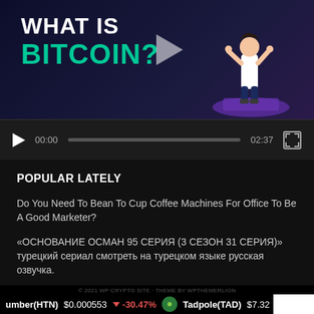[Figure (screenshot): Video thumbnail with dark background showing 'WHAT IS BITCOIN?' text and a stylized figure on a purple platform. Play button visible in center.]
[Figure (screenshot): Video player controls bar with play button, timestamp 00:00, progress bar, end time 02:37, and fullscreen button.]
POPULAR LATELY
Do You Need To Bean To Cup Coffee Machines For Office To Be A Good Marketer?
«ОСНОВАНИЕ ОСМАН 95 СЕРИЯ (3 СЕЗОН 31 СЕРИЯ)» турецкий сериал смотреть на турецком языке русская озвучка.
What Are The Benefits Of A Steam Mop
© 2021 WP CRYPTO SITE · THEME BY WPTHEMERLION
umber(HTN) $0.000553 ↓ -30.47% Tadpole(TAD) $7.32 ↓ -1.74%